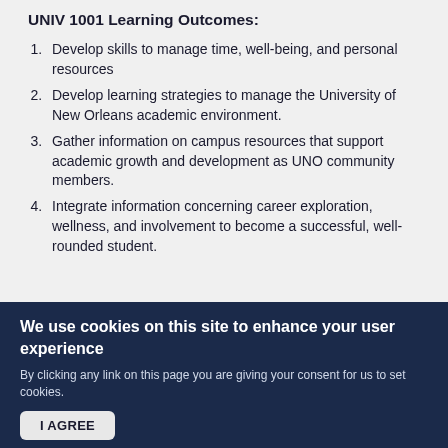UNIV 1001 Learning Outcomes:
Develop skills to manage time, well-being, and personal resources
Develop learning strategies to manage the University of New Orleans academic environment.
Gather information on campus resources that support academic growth and development as UNO community members.
Integrate information concerning career exploration, wellness, and involvement to become a successful, well-rounded student.
We use cookies on this site to enhance your user experience
By clicking any link on this page you are giving your consent for us to set cookies.
I AGREE